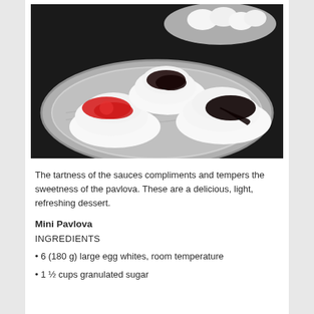[Figure (photo): Three mini pavlovas on a silver plate, topped with red strawberry sauce and dark chocolate/berry sauce. Additional plain meringues visible on a plate in the background. Dark table surface.]
The tartness of the sauces compliments and tempers the sweetness of the pavlova. These are a delicious, light, refreshing dessert.
Mini Pavlova
INGREDIENTS
6 (180 g) large egg whites, room temperature
1 ½ cups granulated sugar